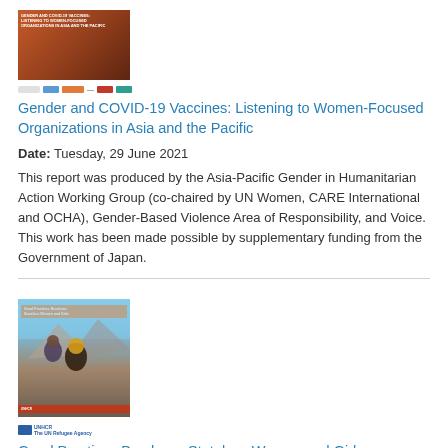[Figure (photo): Cover image of report on Gender and COVID-19 Vaccines with orange/brown design and organizational logos below]
Gender and COVID-19 Vaccines: Listening to Women-Focused Organizations in Asia and the Pacific
Date: Tuesday, 29 June 2021
This report was produced by the Asia-Pacific Gender in Humanitarian Action Working Group (co-chaired by UN Women, CARE International and OCHA), Gender-Based Violence Area of Responsibility, and Voice. This work has been made possible by supplementary funding from the Government of Japan.
[Figure (photo): Cover image of Good Practices Brochure showing two women in mountainous setting with UNHCR branding]
Good Practices Brochure: Stateless Women and Girls
Date: Friday, 14 May 2021
Stateless women and girls experience particular gender-related